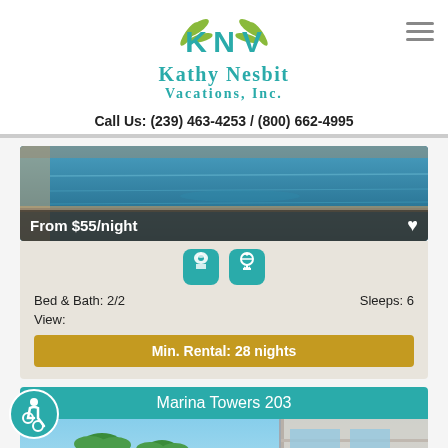[Figure (logo): Kathy Nesbit Vacations Inc. logo with teal K N V letters and palm leaf design]
Call Us: (239) 463-4253 / (800) 662-4995
[Figure (photo): Swimming pool photo with price overlay showing From $55/night and heart icon]
[Figure (infographic): Two teal amenity icons: beach/swimming and BBQ grill]
Bed & Bath: 2/2
Sleeps: 6
View:
Min. Rental: 28 nights
Marina Towers 203
[Figure (photo): Marina Towers 203 property photo showing palm trees and balcony view]